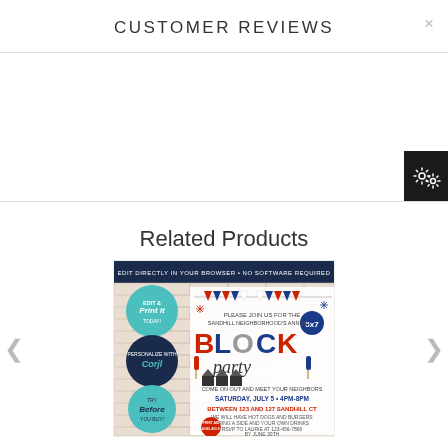CUSTOMER REVIEWS
[Figure (screenshot): Settings/gear icon on dark background, positioned at the right side]
Related Products
[Figure (illustration): Block party invitation card showing 'PLEASE JOIN US FOR THE SANDHILL NEIGHBORHOOD'S ANNUAL BLOCK PARTY' with patriotic red, white, blue decorations, bunting, houses. Saturday July 5 with time and address details. Edit directly in your browser badge at top.]